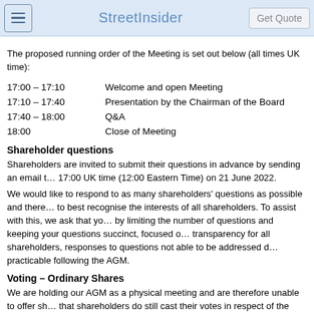StreetInsider | Get Quote
The proposed running order of the Meeting is set out below (all times UK time):
17:00 – 17:10   Welcome and open Meeting
17:10 – 17:40   Presentation by the Chairman of the Board
17:40 – 18:00   Q&A
18:00           Close of Meeting
Shareholder questions
Shareholders are invited to submit their questions in advance by sending an email t… 17:00 UK time (12:00 Eastern Time) on 21 June 2022.
We would like to respond to as many shareholders' questions as possible and there… to best recognise the interests of all shareholders. To assist with this, we ask that yo… by limiting the number of questions and keeping your questions succinct, focused o… transparency for all shareholders, responses to questions not able to be addressed d… practicable following the AGM.
Voting – Ordinary Shares
We are holding our AGM as a physical meeting and are therefore unable to offer sh… that shareholders do still cast their votes in respect of the business of the AGM. We… form appointing the Chairman of the Meeting, as proxy. Further information on ho… AGM. I…